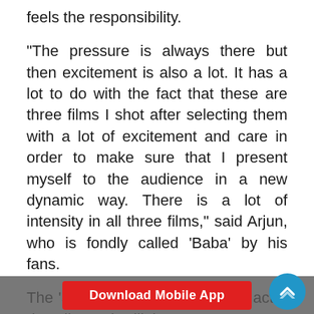feels the responsibility.
"The pressure is always there but then excitement is also a lot. It has a lot to do with the fact that these are three films I shot after selecting them with a lot of excitement and care in order to make sure that I present myself to the audience in a new dynamic way. There is a lot of intensity in all three films," said Arjun, who is fondly called 'Baba' by his fans.
The 'Sandeep Aur Pinky Faraar' actor describes 'Ek Villain Returns' as "very cinematic". He shared that 'Kuttey' "has mad energ... Killer' has
Download Mobile App